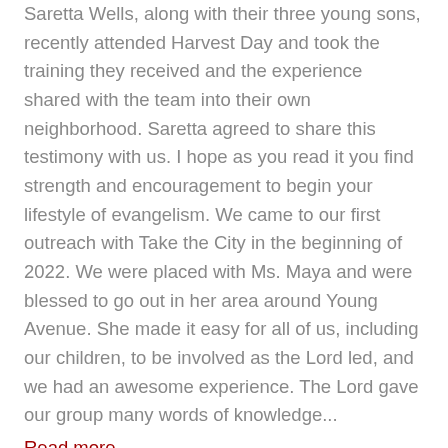Saretta Wells, along with their three young sons, recently attended Harvest Day and took the training they received and the experience shared with the team into their own neighborhood. Saretta agreed to share this testimony with us. I hope as you read it you find strength and encouragement to begin your lifestyle of evangelism. We came to our first outreach with Take the City in the beginning of 2022. We were placed with Ms. Maya and were blessed to go out in her area around Young Avenue. She made it easy for all of us, including our children, to be involved as the Lord led, and we had an awesome experience. The Lord gave our group many words of knowledge...
Read more...
Harvest Day Testimony